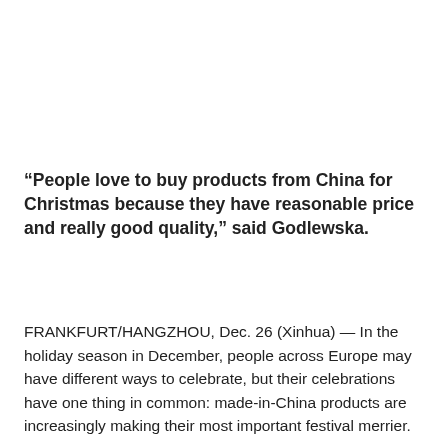“People love to buy products from China for Christmas because they have reasonable price and really good quality,” said Godlewska.
FRANKFURT/HANGZHOU, Dec. 26 (Xinhua) — In the holiday season in December, people across Europe may have different ways to celebrate, but their celebrations have one thing in common: made-in-China products are increasingly making their most important festival merrier.
Thanks to direct freight train service between China and Europe,